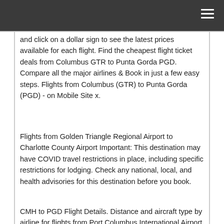and click on a dollar sign to see the latest prices available for each flight. Find the cheapest flight ticket deals from Columbus GTR to Punta Gorda PGD. Compare all the major airlines & Book in just a few easy steps. Flights from Columbus (GTR) to Punta Gorda (PGD) - on Mobile Site x.
Flights from Golden Triangle Regional Airport to Charlotte County Airport Important: This destination may have COVID travel restrictions in place, including specific restrictions for lodging. Check any national, local, and health advisories for this destination before you book.
CMH to PGD Flight Details. Distance and aircraft type by airline for flights from Port Columbus International Airport to Charlotte County Airport.